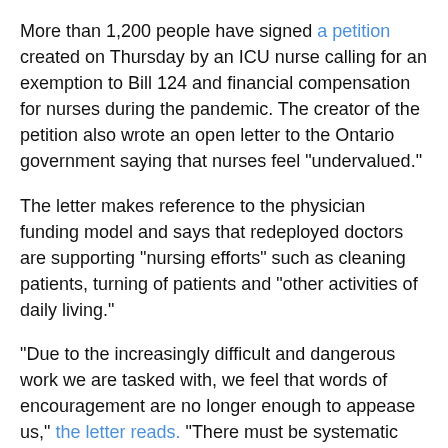More than 1,200 people have signed a petition created on Thursday by an ICU nurse calling for an exemption to Bill 124 and financial compensation for nurses during the pandemic. The creator of the petition also wrote an open letter to the Ontario government saying that nurses feel "undervalued."
The letter makes reference to the physician funding model and says that redeployed doctors are supporting "nursing efforts" such as cleaning patients, turning of patients and "other activities of daily living."
"Due to the increasingly difficult and dangerous work we are tasked with, we feel that words of encouragement are no longer enough to appease us," the letter reads. "There must be systematic changes within the Ontario health-care system to not only increase patient safety but retain the staff that you deem as valuable to keep fighting the pandemic."